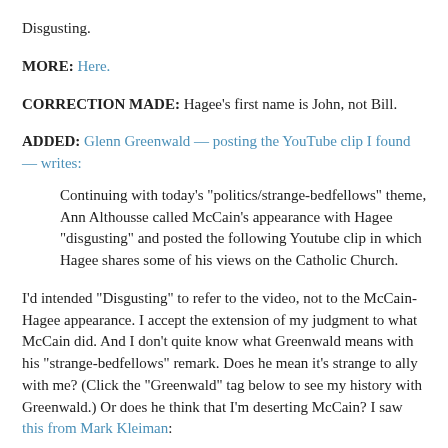Disgusting.
MORE: Here.
CORRECTION MADE: Hagee's first name is John, not Bill.
ADDED: Glenn Greenwald — posting the YouTube clip I found — writes:
Continuing with today's "politics/strange-bedfellows" theme, Ann Althouhouse called McCain's appearance with Hagee "disgusting" and posted the following YouTube clip in which Hagee shares some of his views on the Catholic Church.
I'd intended "Disgusting" to refer to the video, not to the McCain-Hagee appearance. I accept the extension of my judgment to what McCain did. And I don't quite know what Greenwald means with his "strange-bedfellows" remark. Does he mean it's strange for me to ally with me? (Click the "Greenwald" tag below to see my history with Greenwald.) Or does he think that I'm deserting McCain? I saw this from Mark Kleiman:
Ann Althouse becomes, I think, the first conservative blogger to get on John McCain's case about his accepting the endorsement of Pastor John Hage...